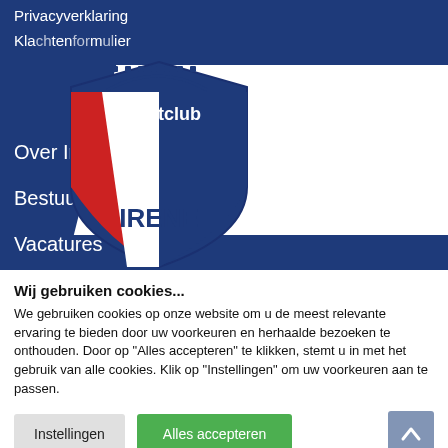Privacyverklaring
Klachtenformulier
[Figure (logo): Sportclub Irene shield logo with red, white and blue colors, text 'Sportclub' at top and 'IRENE' at bottom]
Over Irene
Bestuur
Vacatures
Wij gebruiken cookies...
We gebruiken cookies op onze website om u de meest relevante ervaring te bieden door uw voorkeuren en herhaalde bezoeken te onthouden. Door op "Alles accepteren" te klikken, stemt u in met het gebruik van alle cookies. Klik op "Instellingen" om uw voorkeuren aan te passen.